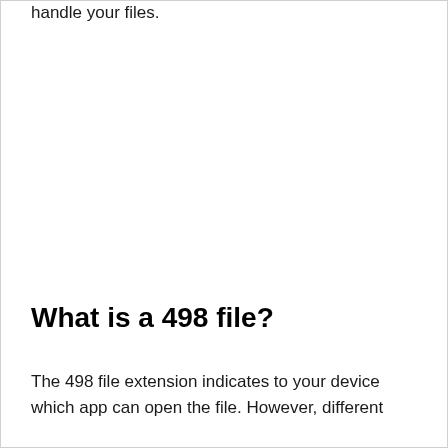handle your files.
What is a 498 file?
The 498 file extension indicates to your device which app can open the file. However, different